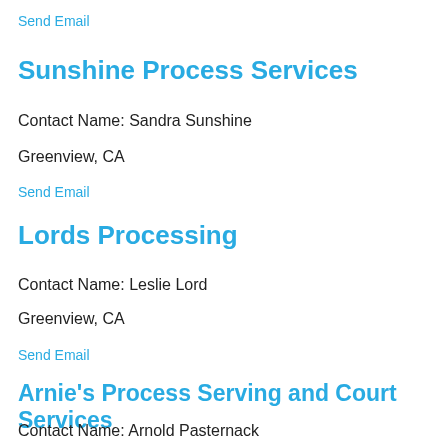Send Email
Sunshine Process Services
Contact Name: Sandra Sunshine
Greenview, CA
Send Email
Lords Processing
Contact Name: Leslie Lord
Greenview, CA
Send Email
Arnie's Process Serving and Court Services
Contact Name: Arnold Pasternack
Greenview, CA